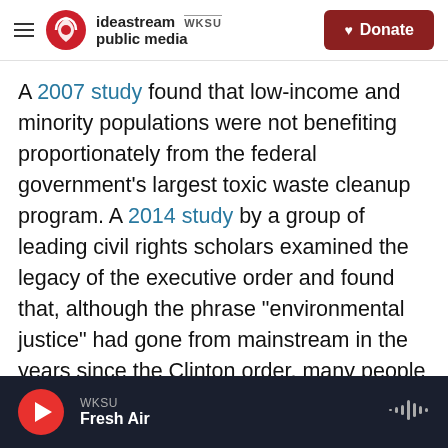ideastream public media | WKSU | Donate
A 2007 study found that low-income and minority populations were not benefiting proportionately from the federal government's largest toxic waste cleanup program. A 2014 study by a group of leading civil rights scholars examined the legacy of the executive order and found that, although the phrase "environmental justice" had gone from mainstream in the years since the Clinton order, many people living in polluted communities felt that the federal government's efforts were not serving them, despite renewed focus by the Obama administration.
WKSU | Fresh Air